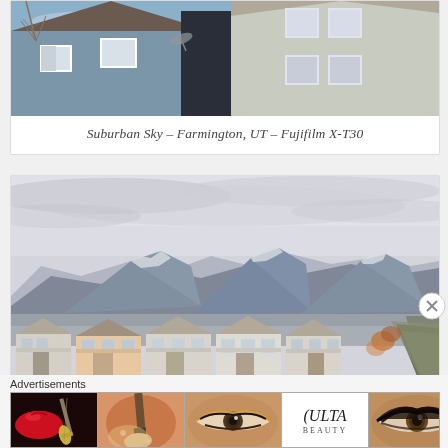[Figure (photo): Suburban house close-up showing roofline and windows against blue sky with bare tree branches, Farmington UT, shot with Fujifilm X-T30]
Suburban Sky – Farmington, UT – Fujifilm X-T30
[Figure (photo): Suburban neighborhood with houses in foreground and snow-capped mountains in background under overcast sky, Farmington UT]
Advertisements
[Figure (photo): Ulta Beauty advertisement banner showing lipstick, makeup brush, eye makeup, Ulta logo, smoky eyes, with SHOP NOW button]